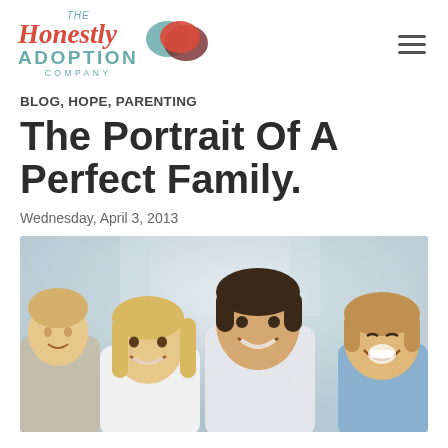[Figure (logo): The Honestly Adoption Company logo with speech bubbles in teal and red]
BLOG, HOPE, PARENTING
The Portrait Of A Perfect Family.
Wednesday, April 3, 2013
[Figure (photo): A smiling family of four — a man, a woman, and two children — photographed together indoors with a light, blurred background.]